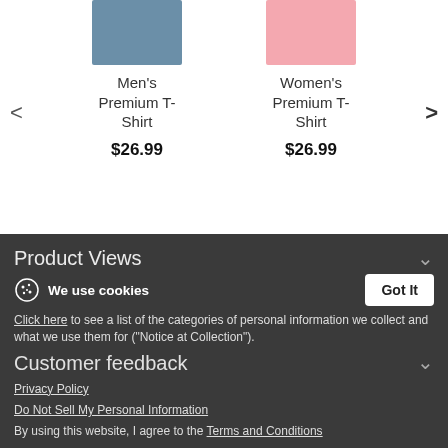[Figure (screenshot): E-commerce product carousel showing Men's Premium T-Shirt and Women's Premium T-Shirt, both priced at $26.99, with left/right navigation arrows and carousel dots indicator.]
Product Details
Description
Size hint
Product Views
Customer feedback
We use cookies
Click here to see a list of the categories of personal information we collect and what we use them for ("Notice at Collection").
Privacy Policy
Do Not Sell My Personal Information
By using this website, I agree to the Terms and Conditions